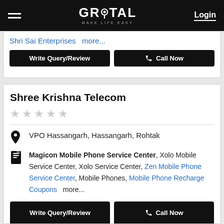GROTAL MAKE LIFE EASY — Login
Shri Sai Enterprises  more...
Write Query/Review   Call Now
Shree Krishna Telecom
VPO Hassangarh, Hassangarh, Rohtak
Magicon Mobile Phone Service Center, Xolo Mobile Service Center, Xolo Service Center, Zen Mobile Phone Service Center, Mobile Phones, Mobile Phone Recharge Coupons  more...
Write Query/Review   Call Now